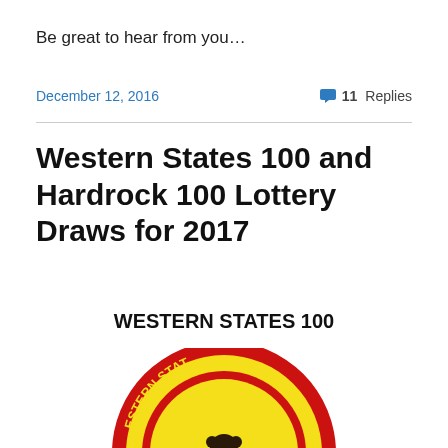Be great to hear from you…
December 12, 2016   💬 11 Replies
Western States 100 and Hardrock 100 Lottery Draws for 2017
WESTERN STATES 100
[Figure (logo): Western States 100 circular logo with red border, yellow background, bear silhouette and 'ONE DAY' text]